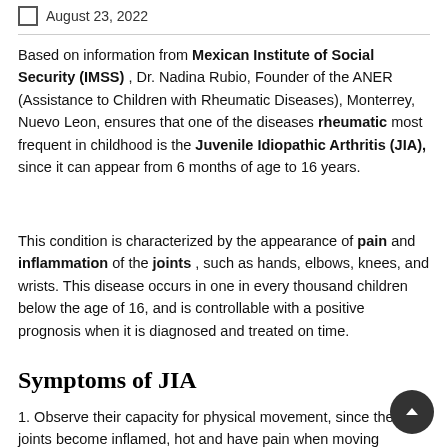August 23, 2022
Based on information from Mexican Institute of Social Security (IMSS) , Dr. Nadina Rubio, Founder of the ANER (Assistance to Children with Rheumatic Diseases), Monterrey, Nuevo Leon, ensures that one of the diseases rheumatic most frequent in childhood is the Juvenile Idiopathic Arthritis (JIA), since it can appear from 6 months of age to 16 years.
This condition is characterized by the appearance of pain and inflammation of the joints , such as hands, elbows, knees, and wrists. This disease occurs in one in every thousand children below the age of 16, and is controllable with a positive prognosis when it is diagnosed and treated on time.
Symptoms of JIA
1. Observe their capacity for physical movement, since the joints become inflamed, hot and have pain when moving